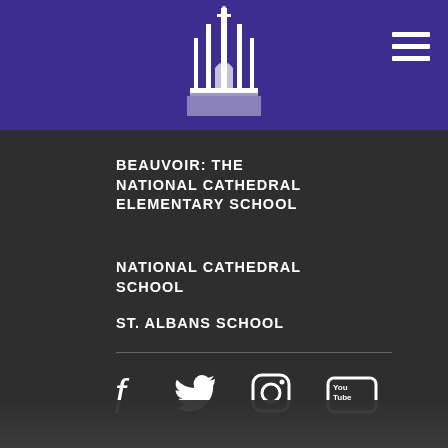[Figure (logo): Cathedral/church spire logo in white on purple background, top center]
[Figure (other): Hamburger menu icon (three horizontal lines) in white, top right]
BEAUVOIR: THE NATIONAL CATHEDRAL ELEMENTARY SCHOOL
NATIONAL CATHEDRAL SCHOOL
ST. ALBANS SCHOOL
[Figure (other): Social media icons row: Facebook, Twitter, Instagram, YouTube]